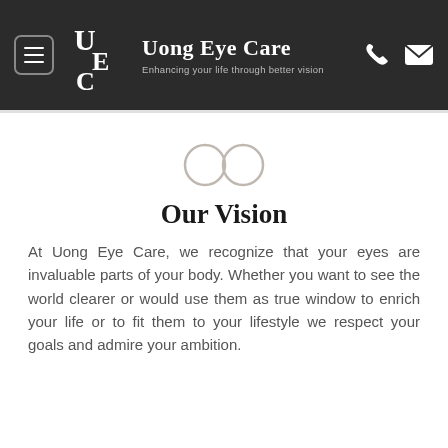Uong Eye Care — Enhancing your life through better vision
[Figure (illustration): Glasses icon — two overlapping circles outline in light gray]
Our Vision
At Uong Eye Care, we recognize that your eyes are invaluable parts of your body. Whether you want to see the world clearer or would use them as true window to enrich your life or to fit them to your lifestyle we respect your goals and admire your ambition.